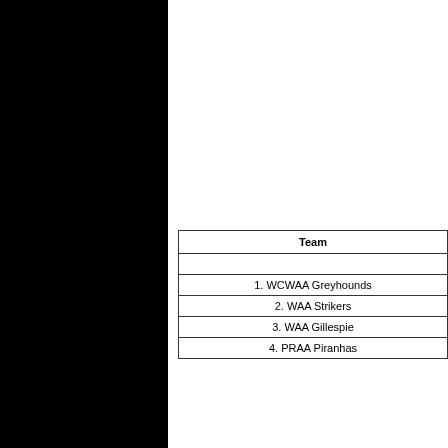| Team |
| --- |
|  |
| 1. WCWAA Greyhounds |
| 2. WAA Strikers |
| 3. WAA Gillespie |
| 4. PRAA Piranhas |